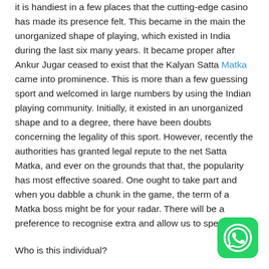it is handiest in a few places that the cutting-edge casino has made its presence felt. This became in the main the unorganized shape of playing, which existed in India during the last six many years. It became proper after Ankur Jugar ceased to exist that the Kalyan Satta Matka came into prominence. This is more than a few guessing sport and welcomed in large numbers by using the Indian playing community. Initially, it existed in an unorganized shape and to a degree, there have been doubts concerning the legality of this sport. However, recently the authorities has granted legal repute to the net Satta Matka, and ever on the grounds that that, the popularity has most effective soared. One ought to take part and when you dabble a chunk in the game, the term of a Matka boss might be for your radar. There will be a preference to recognise extra and allow us to speak.
[Figure (other): WhatsApp contact button icon — green rounded square with white WhatsApp phone/chat logo]
Who is this individual?